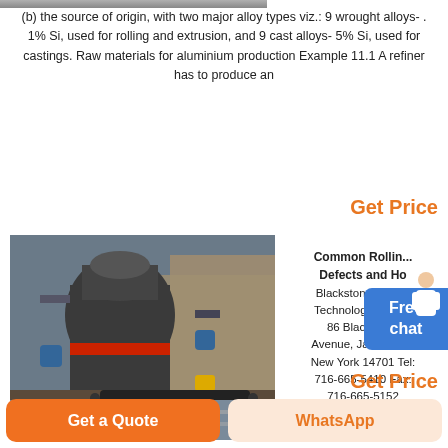[Figure (photo): Top partial image of an industrial facility or machinery]
(b) the source of origin, with two major alloy types viz.: 9 wrought alloys- . 1% Si, used for rolling and extrusion, and 9 cast alloys- 5% Si, used for castings. Raw materials for aluminium production Example 11.1 A refiner has to produce an
Get Price
[Figure (photo): Industrial rolling mill machinery outdoors next to a rocky hillside]
Common Rolling Defects and How Blackstone Advanced Technologies, LLC. 86 Blackstone Avenue, Jamestown New York 14701 Tel: 716-665-5410 Fax: 716-665-5152
Free chat
Get Price
[Figure (photo): Partial photo at bottom of page, industrial metal sheets or rolls]
5 Types of Metal
Get a Quote
WhatsApp